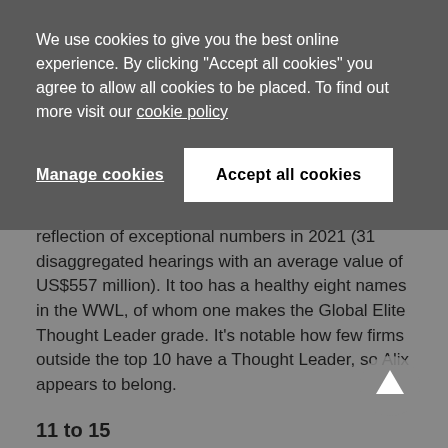We use cookies to give you the best online experience. By clicking "Accept all cookies" you agree to allow all cookies to be placed. To find out more visit our cookie policy
Manage cookies
Accept all cookies
reflection of exceptional numbers in 2021 (31 disaggregated hearings with an average value of US$557 million). It too has a healthy eight names in the WWL, of whom one makes the Global Elite Thought Leader grade. It's notable how few firms outside the top 10 have a Thought Leader, so Alix appears to belong.
11 to 15
In this section:
Accuracy and PwC both rise a couple of places